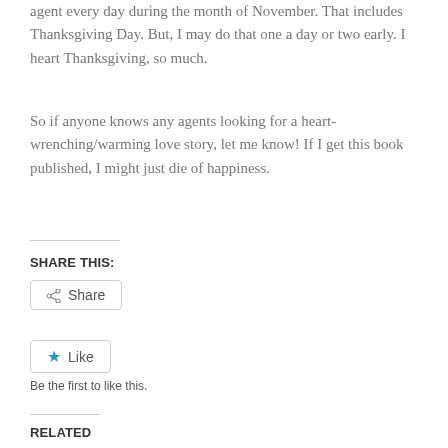agent every day during the month of November.  That includes Thanksgiving Day.  But, I may do that one a day or two early.  I heart Thanksgiving, so much.
So if anyone knows any agents looking for a heart-wrenching/warming love story, let me know!  If I get this book published, I might just die of happiness.
SHARE THIS:
Share
Like
Be the first to like this.
RELATED